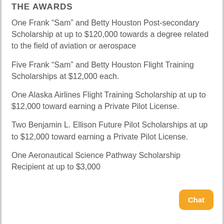THE AWARDS
One Frank “Sam” and Betty Houston Post-secondary Scholarship at up to $120,000 towards a degree related to the field of aviation or aerospace
Five Frank “Sam” and Betty Houston Flight Training Scholarships at $12,000 each.
One Alaska Airlines Flight Training Scholarship at up to $12,000 toward earning a Private Pilot License.
Two Benjamin L. Ellison Future Pilot Scholarships at up to $12,000 toward earning a Private Pilot License.
One Aeronautical Science Pathway Scholarship Recipient at up to $3,000